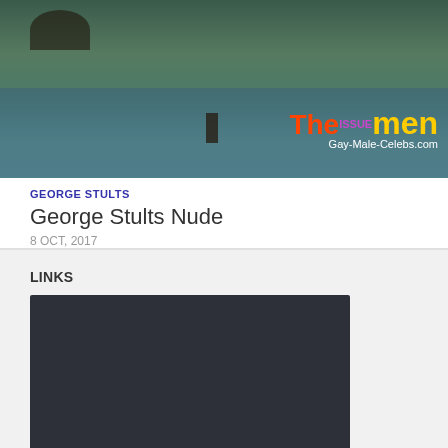[Figure (photo): Banner image showing a person in water with a 'The Men' logo overlay and Gay-Male-Celebs.com watermark]
GEORGE STULTS
George Stults Nude
8 OCT, 2017
LINKS
[Figure (other): Dark rectangular embed/video placeholder box]